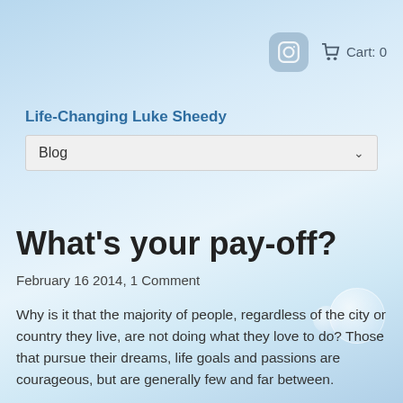Instagram icon  Cart: 0
Life-Changing Luke Sheedy
Blog
What's your pay-off?
February 16 2014, 1 Comment
Why is it that the majority of people, regardless of the city or country they live, are not doing what they love to do? Those that pursue their dreams, life goals and passions are courageous, but are generally few and far between.
Do you know what separates the dreamers from the doers? The dreamers don't